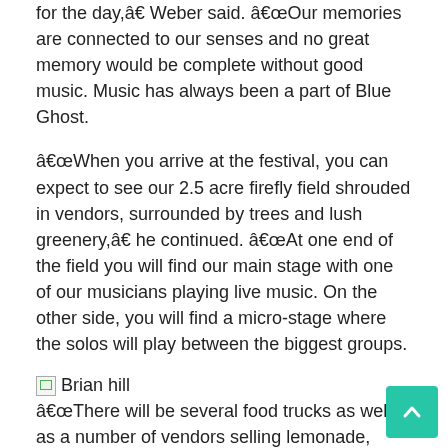for the day,â€ Weber said. â€œOur memories are connected to our senses and no great memory would be complete without good music. Music has always been a part of Blue Ghost.
â€œWhen you arrive at the festival, you can expect to see our 2.5 acre firefly field shrouded in vendors, surrounded by trees and lush greenery,â€ he continued. â€œAt one end of the field you will find our main stage with one of our musicians playing live music. On the other side, you will find a micro-stage where the solos will play between the biggest groups.
[Figure (photo): Broken image placeholder labeled 'Brian hill']
â€œThere will be several food trucks as well as a number of vendors selling lemonade, charcuterie boards, candy, pickles, crushed ice, pretzels and more. Our own food truck, The Hungry Ghost , and our Hungry Ghost Grill will serve the festival- style food and burgers and fries.
â€œThere will be families roaming the vendors, kids running and playing and leashed dogs abound. We hope this all takes